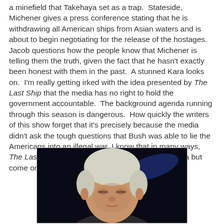a minefield that Takehaya set as a trap.  Stateside, Michener gives a press conference stating that he is withdrawing all American ships from Asian waters and is about to begin negotiating for the release of the hostages.  Jacob questions how the people know that Michener is telling them the truth, given the fact that he hasn't exactly been honest with them in the past.  A stunned Kara looks on.  I'm really getting irked with the idea presented by The Last Ship that the media has no right to hold the government accountable.  The background agenda running through this season is dangerous.  How quickly the writers of this show forget that it's precisely because the media didn't ask the tough questions that Bush was able to lie the Americans into an illegal war. I know that in many ways, The Last Ship is barely veiled American Propaganda but come on already.
[Figure (photo): A man with white/grey short hair photographed against a dark background with a dark blue object visible behind his head.]